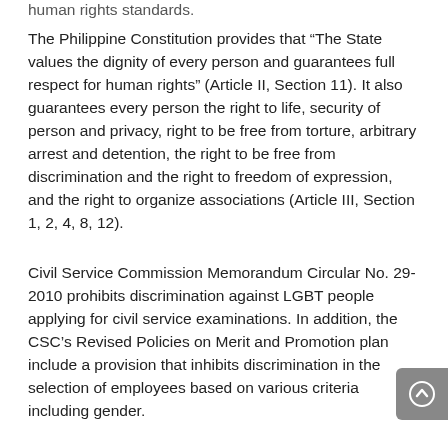human rights standards.
The Philippine Constitution provides that “The State values the dignity of every person and guarantees full respect for human rights” (Article II, Section 11). It also guarantees every person the right to life, security of person and privacy, right to be free from torture, arbitrary arrest and detention, the right to be free from discrimination and the right to freedom of expression, and the right to organize associations (Article III, Section 1, 2, 4, 8, 12).
Civil Service Commission Memorandum Circular No. 29-2010 prohibits discrimination against LGBT people applying for civil service examinations. In addition, the CSC’s Revised Policies on Merit and Promotion plan include a provision that inhibits discrimination in the selection of employees based on various criteria including gender.